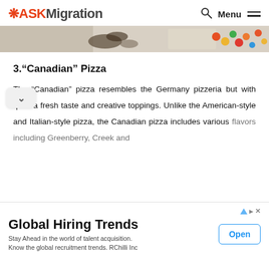ASKMigration  🔍 Menu ☰
[Figure (photo): Partial banner photo showing food items including what appears to be chocolate/dark crumbles on the left and colorful candy pieces on the right on a light background.]
3.“Canadian” Pizza
The “Canadian” pizza resembles the Germany pizzeria but with quite a fresh taste and creative toppings. Unlike the American-style and Italian-style pizza, the Canadian pizza includes various flavors including Greenberry, Creek and
[Figure (infographic): Advertisement banner for Global Hiring Trends by RChilli Inc with an Open button.]